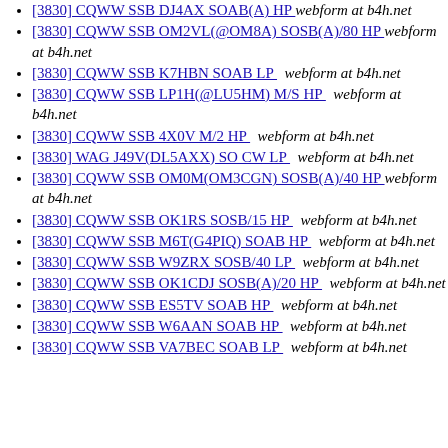[3830] CQWW SSB DJ4AX SOAB(A) HP  webform at b4h.net
[3830] CQWW SSB OM2VL(@OM8A) SOSB(A)/80 HP  webform at b4h.net
[3830] CQWW SSB K7HBN SOAB LP  webform at b4h.net
[3830] CQWW SSB LP1H(@LU5HM) M/S HP  webform at b4h.net
[3830] CQWW SSB 4X0V M/2 HP  webform at b4h.net
[3830] WAG J49V(DL5AXX) SO CW LP  webform at b4h.net
[3830] CQWW SSB OM0M(OM3CGN) SOSB(A)/40 HP  webform at b4h.net
[3830] CQWW SSB OK1RS SOSB/15 HP  webform at b4h.net
[3830] CQWW SSB M6T(G4PIQ) SOAB HP  webform at b4h.net
[3830] CQWW SSB W9ZRX SOSB/40 LP  webform at b4h.net
[3830] CQWW SSB OK1CDJ SOSB(A)/20 HP  webform at b4h.net
[3830] CQWW SSB ES5TV SOAB HP  webform at b4h.net
[3830] CQWW SSB W6AAN SOAB HP  webform at b4h.net
[3830] CQWW SSB VA7BEC SOAB LP  webform at b4h.net